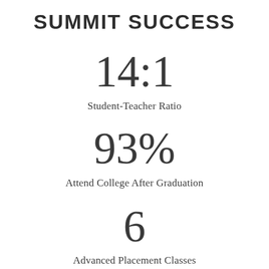SUMMIT SUCCESS
14:1
Student-Teacher Ratio
93%
Attend College After Graduation
6
Advanced Placement Classes